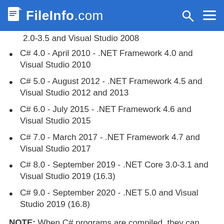FileInfo.com
2.0-3.5 and Visual Studio 2008
C# 4.0 - April 2010 - .NET Framework 4.0 and Visual Studio 2010
C# 5.0 - August 2012 - .NET Framework 4.5 and Visual Studio 2012 and 2013
C# 6.0 - July 2015 - .NET Framework 4.6 and Visual Studio 2015
C# 7.0 - March 2017 - .NET Framework 4.7 and Visual Studio 2017
C# 8.0 - September 2019 - .NET Core 3.0-3.1 and Visual Studio 2019 (16.3)
C# 9.0 - September 2020 - .NET 5.0 and Visual Studio 2019 (16.8)
NOTE: When C# programs are compiled, they can then be run by the Common Language Runtime (CLR) (included with the .NET